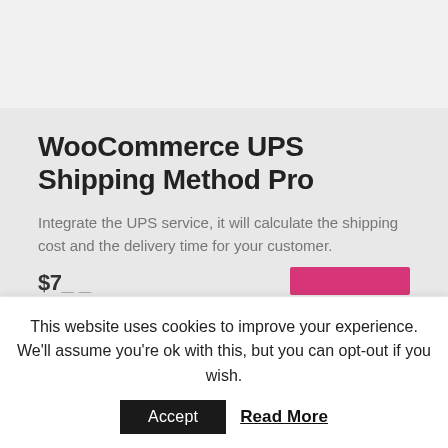WooCommerce UPS Shipping Method Pro
Integrate the UPS service, it will calculate the shipping cost and the delivery time for your customer.
This website uses cookies to improve your experience. We'll assume you're ok with this, but you can opt-out if you wish.
Accept   Read More